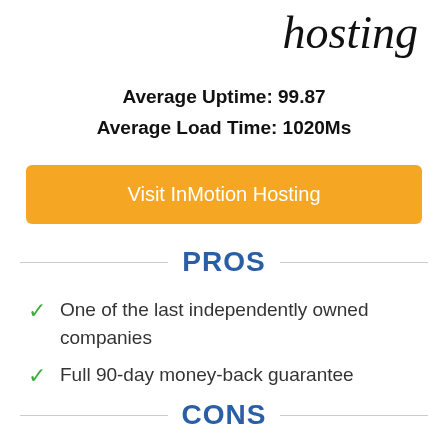hosting
Average Uptime: 99.87
Average Load Time: 1020Ms
[Figure (other): Orange button reading 'Visit InMotion Hosting']
PROS
One of the last independently owned companies
Full 90-day money-back guarantee
CONS